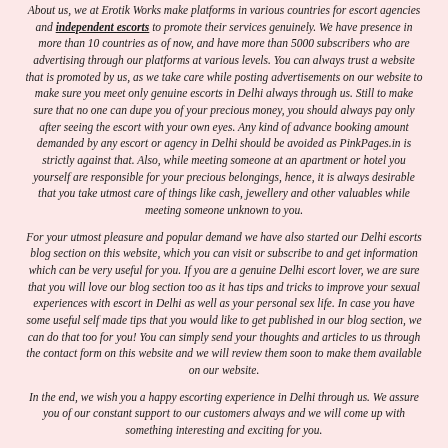About us, we at Erotik Works make platforms in various countries for escort agencies and independent escorts to promote their services genuinely. We have presence in more than 10 countries as of now, and have more than 5000 subscribers who are advertising through our platforms at various levels. You can always trust a website that is promoted by us, as we take care while posting advertisements on our website to make sure you meet only genuine escorts in Delhi always through us. Still to make sure that no one can dupe you of your precious money, you should always pay only after seeing the escort with your own eyes. Any kind of advance booking amount demanded by any escort or agency in Delhi should be avoided as PinkPages.in is strictly against that. Also, while meeting someone at an apartment or hotel you yourself are responsible for your precious belongings, hence, it is always desirable that you take utmost care of things like cash, jewellery and other valuables while meeting someone unknown to you.
For your utmost pleasure and popular demand we have also started our Delhi escorts blog section on this website, which you can visit or subscribe to and get information which can be very useful for you. If you are a genuine Delhi escort lover, we are sure that you will love our blog section too as it has tips and tricks to improve your sexual experiences with escort in Delhi as well as your personal sex life. In case you have some useful self made tips that you would like to get published in our blog section, we can do that too for you! You can simply send your thoughts and articles to us through the contact form on this website and we will review them soon to make them available on our website.
In the end, we wish you a happy escorting experience in Delhi through us. We assure you of our constant support to our customers always and we will come up with something interesting and exciting for you.